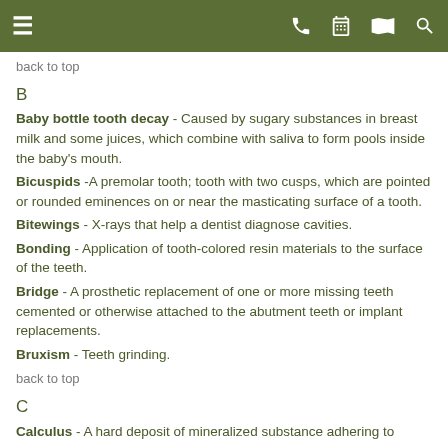Navigation header with menu, phone, calendar, map, and search icons
back to top
B
Baby bottle tooth decay - Caused by sugary substances in breast milk and some juices, which combine with saliva to form pools inside the baby's mouth.
Bicuspids -A premolar tooth; tooth with two cusps, which are pointed or rounded eminences on or near the masticating surface of a tooth.
Bitewings - X-rays that help a dentist diagnose cavities.
Bonding - Application of tooth-colored resin materials to the surface of the teeth.
Bridge - A prosthetic replacement of one or more missing teeth cemented or otherwise attached to the abutment teeth or implant replacements.
Bruxism - Teeth grinding.
back to top
C
Calculus - A hard deposit of mineralized substance adhering to